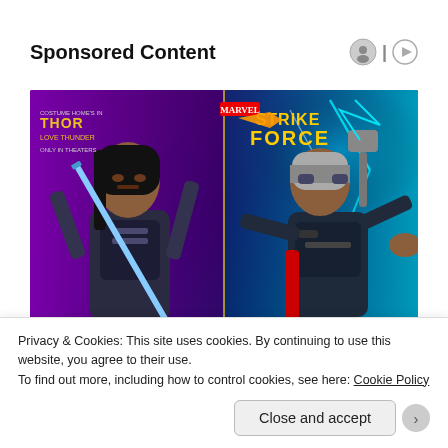Sponsored Content
[Figure (illustration): Marvel Strike Force game advertisement featuring Valkyrie (Hero, Cosmic, Skill) on the left and Mighty Thor (Hero, Cosmic, Mystic) on the right, with Thor Love and Thunder movie branding. Purple and teal gradient background with lightning effects.]
Privacy & Cookies: This site uses cookies. By continuing to use this website, you agree to their use.
To find out more, including how to control cookies, see here: Cookie Policy
Close and accept